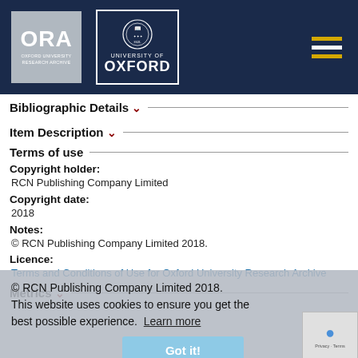[Figure (logo): ORA Oxford University Research Archive logo and University of Oxford crest logo on dark navy header with hamburger menu icon]
Bibliographic Details
Item Description
Terms of use
Copyright holder: RCN Publishing Company Limited
Copyright date: 2018
Notes: © RCN Publishing Company Limited 2018.
Licence: Terms and Conditions of Use for Oxford University Research Archive
This website uses cookies to ensure you get the best possible experience. Learn more Got it!
Metrics